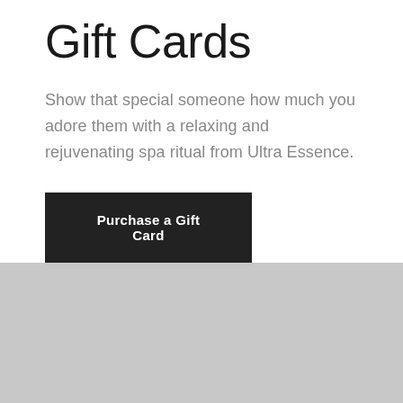Gift Cards
Show that special someone how much you adore them with a relaxing and rejuvenating spa ritual from Ultra Essence.
Purchase a Gift Card
[Figure (photo): Gray placeholder image area in the lower half of the page]